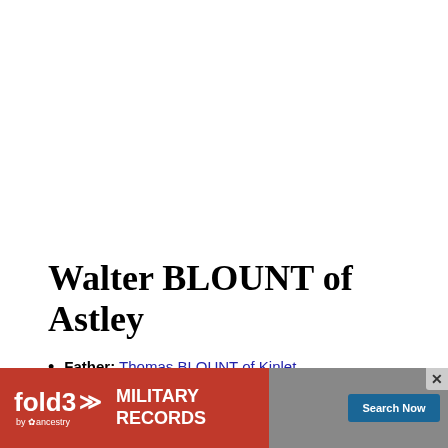Walter BLOUNT of Astley
Father: Thomas BLOUNT of Kinlet
Mother: Anne CROFT
Birth: 1473/1530
Death: [partially obscured by ad]
[Figure (other): Fold3 by Ancestry advertisement banner for Military Records with Search Now button and close button]